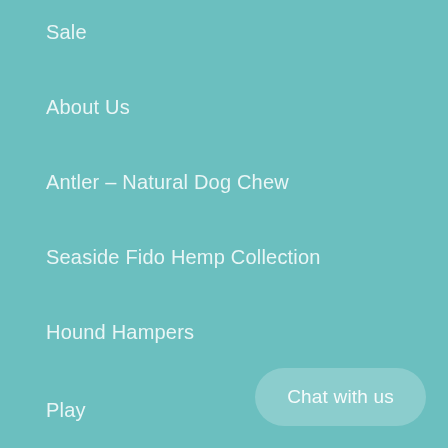Sale
About Us
Antler – Natural Dog Chew
Seaside Fido Hemp Collection
Hound Hampers
Play
Wear
Munch
Wash
Blog
Home page
Contact Us
Search
Chat with us